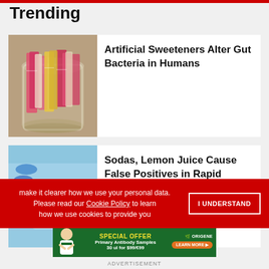Trending
[Figure (photo): Glass jar filled with colorful artificial sweetener packets (pink and yellow)]
Artificial Sweeteners Alter Gut Bacteria in Humans
[Figure (photo): Person holding a rapid COVID-19 lateral flow test device against a blue background with pills]
Sodas, Lemon Juice Cause False Positives in Rapid COVID-19 Tests
make it clearer how we use your personal data.
Please read our Cookie Policy to learn how we use cookies to provide you
I UNDERSTAND
[Figure (infographic): OriGene special offer advertisement: Primary Antibody Samples 30 ul for $99/€99, Learn More button]
ADVERTISEMENT